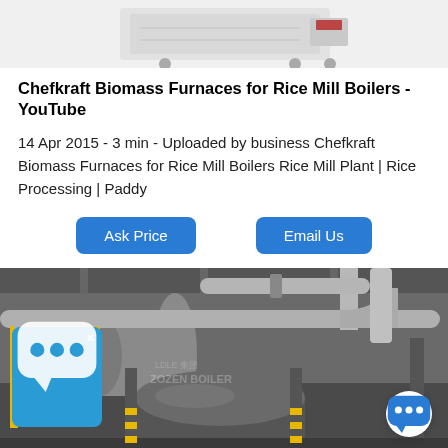[Figure (photo): Top portion of a white industrial boiler or furnace machine with red accent panel, on wheels, against white background]
Chefkraft Biomass Furnaces for Rice Mill Boilers - YouTube
14 Apr 2015 - 3 min - Uploaded by business Chefkraft Biomass Furnaces for Rice Mill Boilers Rice Mill Plant | Rice Processing | Paddy
[Figure (other): Ask Price button]
[Figure (other): Email Us button]
[Figure (photo): Industrial boiler installation inside a large factory building with large cylindrical tanks, silver insulated pipes, yellow safety railings and staircases, concrete structure, watermark reading ZOZEN BOILER]